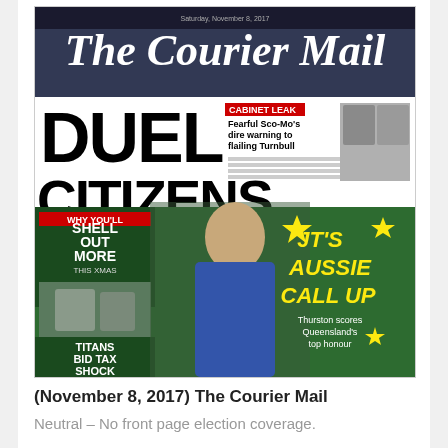[Figure (photo): The Courier Mail front page from November 8, 2017, featuring headlines: DUEL CITIZENS with Cabinet Leak story about Sco-Mo's warning to Turnbull, and JT's Aussie Call Up story about Thurston scoring Queensland's top honour. Also shows smaller stories about Shell Out More This Xmas and Titans Bid Tax Shock.]
(November 8, 2017) The Courier Mail
Neutral – No front page election coverage.
[Figure (photo): The Courier Mail front page showing headline: HEARTBREAKING CRY OF BOY KILLED IN SCHOOL CRASH TRAGEDY, with The Courier Mail masthead logo.]